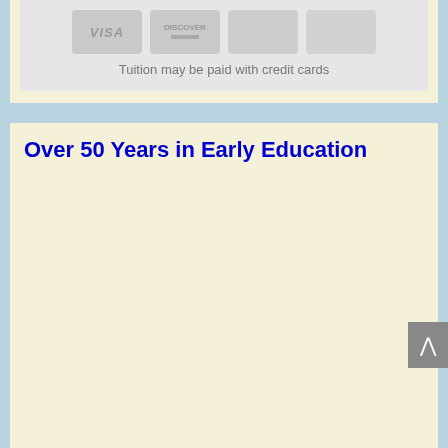[Figure (photo): Credit card logos including Visa and Discover shown as faded/greyed out card images]
Tuition may be paid with credit cards
Over 50 Years in Early Education